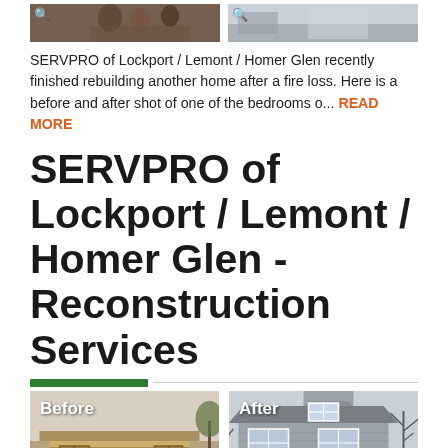[Figure (photo): Two small thumbnail images of bedroom before and after fire damage, each with a magnifying glass icon overlay.]
SERVPRO of Lockport / Lemont / Homer Glen recently finished rebuilding another home after a fire loss. Here is a before and after shot of one of the bedrooms o... READ MORE
SERVPRO of Lockport / Lemont / Homer Glen - Reconstruction Services
[Figure (photo): Before and after photos of a house reconstruction. Left image labeled 'Before' shows a house with boarded-up windows and plywood siding. Right image labeled 'After' shows the completed renovated house with gray siding and windows.]